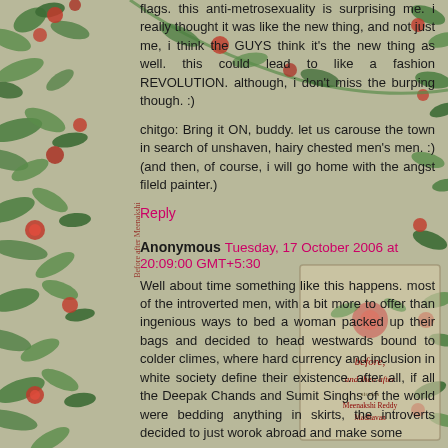flags. this anti-metrosexuality is surprising me. i really thought it was like the new thing, and not just me, i think the GUYS think it's the new thing as well. this could lead to like a fashion REVOLUTION. although, i don't miss the burping though. :)
chitgo: Bring it ON, buddy. let us carouse the town in search of unshaven, hairy chested men's men. :) (and then, of course, i will go home with the angst fileld painter.)
Reply
Anonymous Tuesday, 17 October 2006 at 20:09:00 GMT+5:30
Well about time something like this happens. most of the introverted men, with a bit more to offer than ingenious ways to bed a woman packed up their bags and decided to head westwards bound to colder climes, where hard currency and inclusion in white society define their existence. after all, if all the Deepak Chands and Sumit Singhs of the world were bedding anything in skirts, the introverts decided to just worok abroad and make some